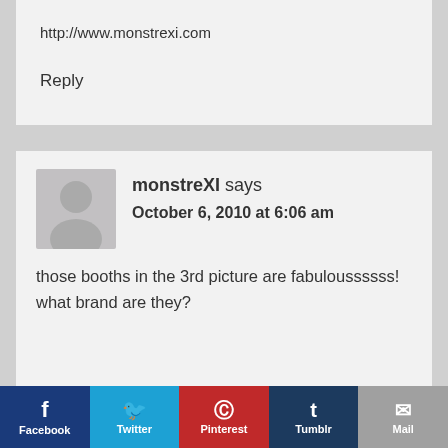http://www.monstrexi.com
Reply
monstreXI says
October 6, 2010 at 6:06 am
those booths in the 3rd picture are fabuloussssss! what brand are they?
Facebook  Twitter  Pinterest  Tumblr  Mail